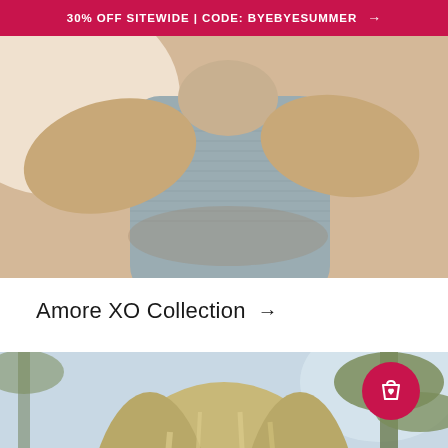30% OFF SITEWIDE | CODE: BYEBYESUMMER →
[Figure (photo): Close-up of a woman wearing a gray ribbed top, arms raised, warm skin tones with bright lighting]
Amore XO Collection →
[Figure (photo): Smiling blonde woman outdoors near a beach with palm trees in the background, wearing gold hoop earrings]